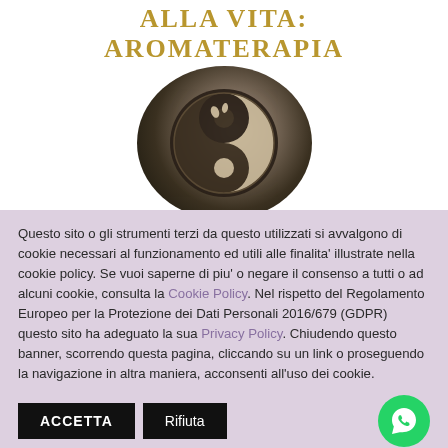ALLA VITA: AROMATERAPIA
[Figure (illustration): Circular dark background with a yin-yang style fetal/embryo illustration in muted earthy tones]
Questo sito o gli strumenti terzi da questo utilizzati si avvalgono di cookie necessari al funzionamento ed utili alle finalita' illustrate nella cookie policy. Se vuoi saperne di piu' o negare il consenso a tutti o ad alcuni cookie, consulta la Cookie Policy. Nel rispetto del Regolamento Europeo per la Protezione dei Dati Personali 2016/679 (GDPR) questo sito ha adeguato la sua Privacy Policy. Chiudendo questo banner, scorrendo questa pagina, cliccando su un link o proseguendo la navigazione in altra maniera, acconsenti all'uso dei cookie.
ACCETTA | Rifiuta